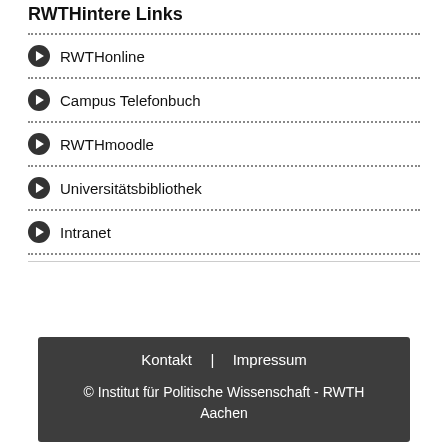RWTHintere Links
RWTHonline
Campus Telefonbuch
RWTHmoodle
Universitätsbibliothek
Intranet
Kontakt | Impressum
© Institut für Politische Wissenschaft - RWTH Aachen